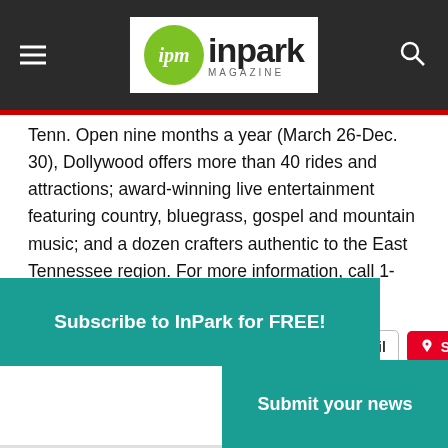[Figure (logo): IPM InPark Magazine logo on dark header bar with hamburger menu and search icon]
Tenn. Open nine months a year (March 26-Dec. 30), Dollywood offers more than 40 rides and attractions; award-winning live entertainment featuring country, bluegrass, gospel and mountain music; and a dozen crafters authentic to the East Tennessee region. For more information, call 1-800-DOLLYWOOD or visit dollywood.com. Operating days and hours vary.
Share this:
Subscribe to InPark for FREE!
Submit your news